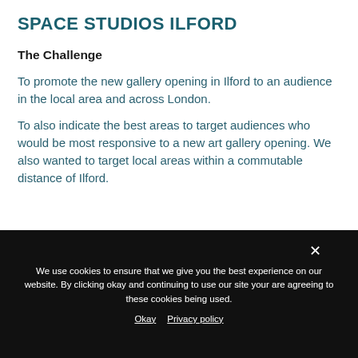SPACE STUDIOS ILFORD
The Challenge
To promote the new gallery opening in Ilford to an audience in the local area and across London.
To also indicate the best areas to target audiences who would be most responsive to a new art gallery opening. We also wanted to target local areas within a commutable distance of Ilford.
We use cookies to ensure that we give you the best experience on our website. By clicking okay and continuing to use our site your are agreeing to these cookies being used.
Okay   Privacy policy